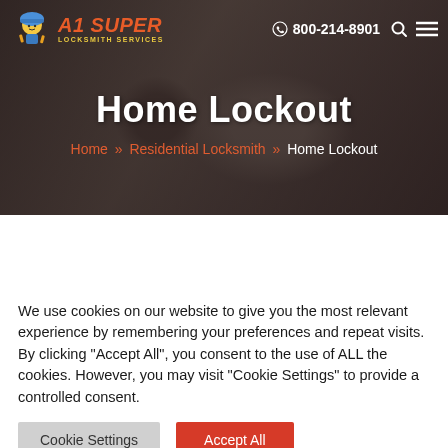A1 Super Locksmith Services | 800-214-8901
Home Lockout
Home » Residential Locksmith » Home Lockout
We use cookies on our website to give you the most relevant experience by remembering your preferences and repeat visits. By clicking "Accept All", you consent to the use of ALL the cookies. However, you may visit "Cookie Settings" to provide a controlled consent.